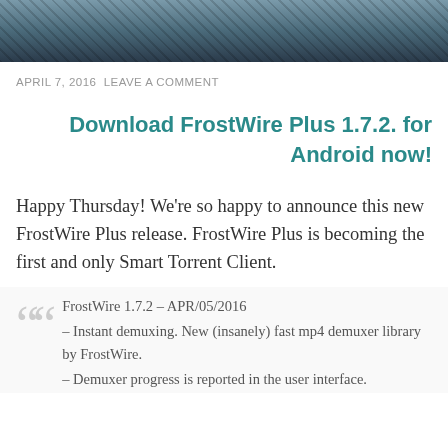[Figure (photo): Partial photo of a person or scene, cropped at top of page]
APRIL 7, 2016  LEAVE A COMMENT
Download FrostWire Plus 1.7.2. for Android now!
Happy Thursday! We're so happy to announce this new FrostWire Plus release. FrostWire Plus is becoming the first and only Smart Torrent Client.
FrostWire 1.7.2 – APR/05/2016
– Instant demuxing. New (insanely) fast mp4 demuxer library by FrostWire.
– Demuxer progress is reported in the user interface.